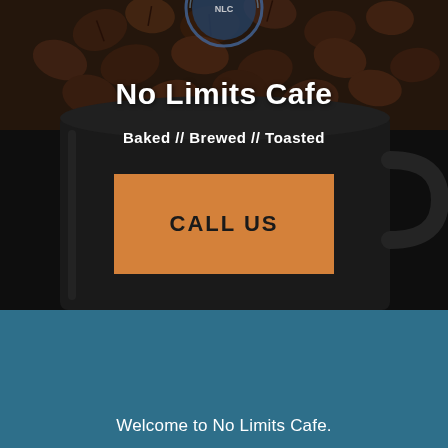[Figure (photo): Dark background photo of a black coffee mug filled with roasted coffee beans, with a partial circular logo/badge visible at the top center. Dark, moody photography.]
No Limits Cafe
Baked // Brewed // Toasted
CALL US
Welcome to No Limits Cafe.